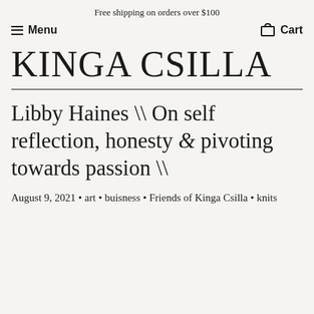Free shipping on orders over $100
Menu   Cart
KINGA CSILLA
Libby Haines \\ On self reflection, honesty & pivoting towards passion \\
August 9, 2021 • art • buisness • Friends of Kinga Csilla • knits